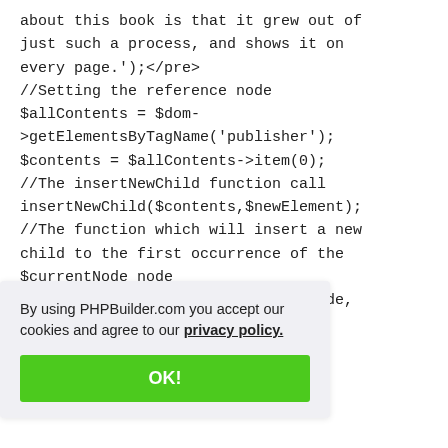about this book is that it grew out of just such a process, and shows it on every page.');</pre>
//Setting the reference node
$allContents = $dom->getElementsByTagName('publisher');
$contents = $allContents->item(0);
//The insertNewChild function call
insertNewChild($contents,$newElement);
//The function which will insert a new child to the first occurrence of the $currentNode node
function insertNewChild($currentNode,
$node,
By using PHPBuilder.com you accept our cookies and agree to our privacy policy.
OK!